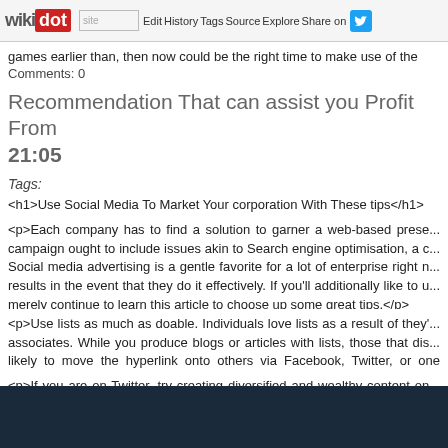wikidot | site | Edit | History | Tags | Source | Explore | Share on [Twitter]
games earlier than, then now could be the right time to make use of the
Comments: 0
Recommendation That can assist you Profit From... 21:05
Tags:
<h1>Use Social Media To Market Your corporation With These tips</h1>
<p>Each company has to find a solution to garner a web-based presence. campaign ought to include issues akin to Search engine optimisation, a c... Social media advertising is a gentle favorite for a lot of enterprise right now results in the event that they do it effectively. If you'll additionally like to u... merely continue to learn this article to choose up some great tips.</p>
<p>Use lists as much as doable. Individuals love lists as a result of they'... associates. While you produce blogs or articles with lists, those that dis... likely to move the hyperlink onto others via Facebook, Twitter, or one othe...</p>
<p>If you are on Twitter, try creating diversified and wealthy content on... with tips and recommendations that are related to your business. Prior... hyperlink to what you are promoting makes it much more likely that your f...</p>
[Figure (screenshot): Dark blue/navy background section at the bottom of the page]